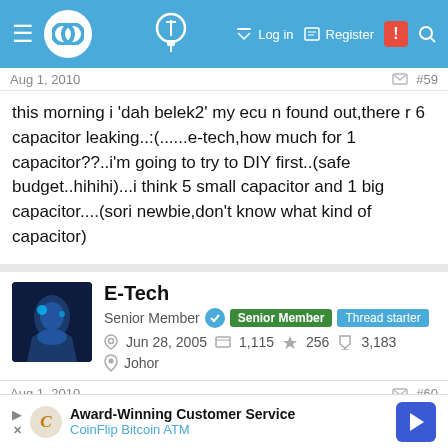Navigation bar with logo, Log in, Register links
Aug 1, 2010  #59
this morning i 'dah belek2' my ecu n found out,there r 6 capacitor leaking..:(......e-tech,how much for 1 capacitor??..i'm going to try to DIY first..(safe budget..hihihi)...i think 5 small capacitor and 1 big capacitor....(sori newbie,don't know what kind of capacitor)
E-Tech
Senior Member · Senior Member · Thread starter
Jun 28, 2005  1,115  256  3,183
Johor
Aug 1, 2010  #60
FH4 said:
[Figure (screenshot): Ad banner: Award-Winning Customer Service, CoinFlip Bitcoin ATM]